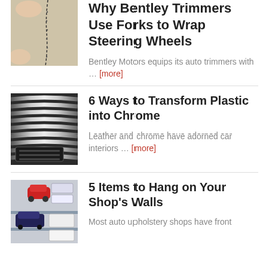[Figure (photo): Close-up of leather being stitched, a finger visible pressing the material]
Why Bentley Trimmers Use Forks to Wrap Steering Wheels
Bentley Motors equips its auto trimmers with … [more]
[Figure (photo): Chrome grille or vent strips on a car, metallic ridged surface]
6 Ways to Transform Plastic into Chrome
Leather and chrome have adorned car interiors … [more]
[Figure (photo): Auto upholstery shop items with model cars and shop supplies on shelves]
5 Items to Hang on Your Shop's Walls
Most auto upholstery shops have front